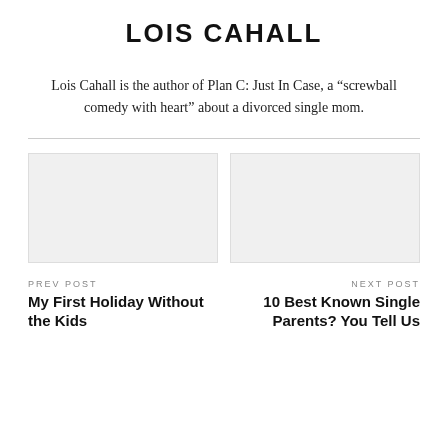LOIS CAHALL
Lois Cahall is the author of Plan C: Just In Case, a “screwball comedy with heart” about a divorced single mom.
[Figure (photo): Two gray placeholder image boxes side by side]
PREV POST
My First Holiday Without the Kids
NEXT POST
10 Best Known Single Parents? You Tell Us